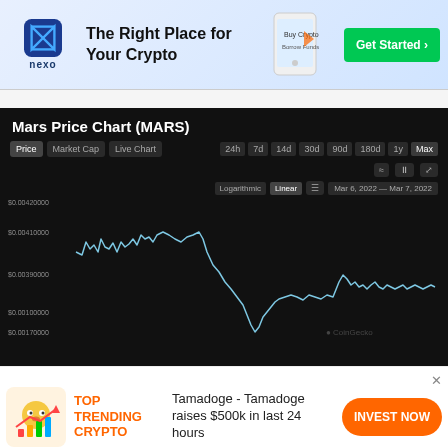[Figure (screenshot): Nexo advertisement banner: The Right Place for Your Crypto with Get Started button]
[Figure (continuous-plot): Line chart showing MARS crypto price over time. Y-axis labels: $0.00420000, $0.00410000, $0.00390000, $0.00100000, $0.00170000. Date range: Mar 6, 2022 — Mar 7, 2022. Price starts around $0.0041, stays volatile then drops sharply, recovers slightly, then another peak and gradual decline.]
[Figure (screenshot): Tamadoge advertisement: TOP TRENDING CRYPTO — Tamadoge raises $500k in last 24 hours — INVEST NOW button]